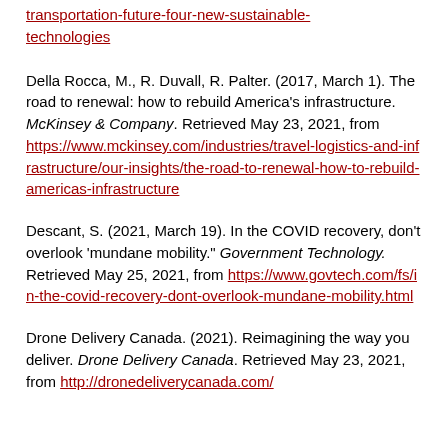transportation-future-four-new-sustainable-technologies
Della Rocca, M., R. Duvall, R. Palter. (2017, March 1). The road to renewal: how to rebuild America's infrastructure. McKinsey & Company. Retrieved May 23, 2021, from https://www.mckinsey.com/industries/travel-logistics-and-infrastructure/our-insights/the-road-to-renewal-how-to-rebuild-americas-infrastructure
Descant, S. (2021, March 19). In the COVID recovery, don't overlook 'mundane mobility." Government Technology. Retrieved May 25, 2021, from https://www.govtech.com/fs/in-the-covid-recovery-dont-overlook-mundane-mobility.html
Drone Delivery Canada. (2021). Reimagining the way you deliver. Drone Delivery Canada. Retrieved May 23, 2021, from https://dronedeliverycanada.com/